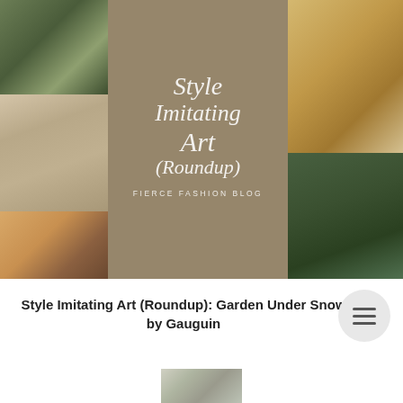[Figure (photo): Fashion blog collage image with script overlay text reading 'Style Imitating Art (Roundup)' and 'FIERCE FASHION BLOG'. Multiple outfit photos arranged in a grid around a central brown/tan overlay panel with white italic script text.]
Style Imitating Art (Roundup): Garden Under Snow by Gauguin
[Figure (photo): Small partial image of trees or artwork at the bottom of the page]